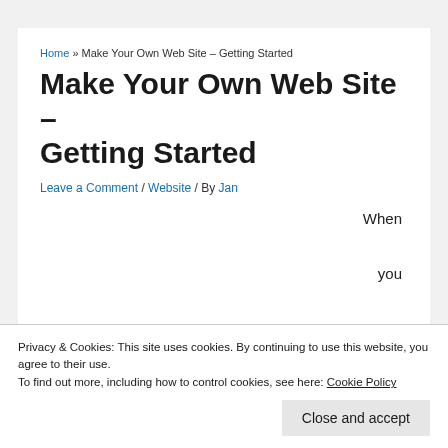Home » Make Your Own Web Site – Getting Started
Make Your Own Web Site – Getting Started
Leave a Comment / Website / By Jan
When you make your
Privacy & Cookies: This site uses cookies. By continuing to use this website, you agree to their use.
To find out more, including how to control cookies, see here: Cookie Policy
Close and accept